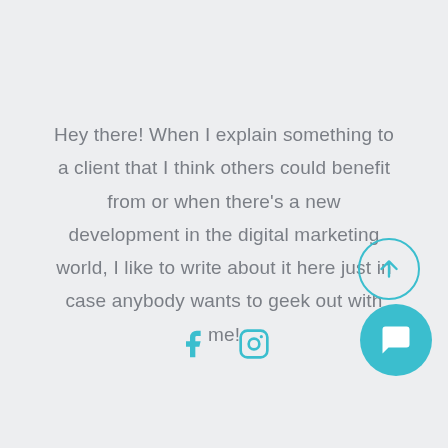Hey there! When I explain something to a client that I think others could benefit from or when there's a new development in the digital marketing world, I like to write about it here just in case anybody wants to geek out with me!
[Figure (illustration): Social media icons: Facebook (f) and Instagram (camera) in teal color]
[Figure (illustration): Scroll-to-top button: teal circle outline with upward arrow, and a teal filled chat bubble button below it, both in bottom-right corner]